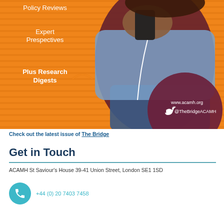[Figure (photo): Photo of a young woman sitting against an orange background, holding a smartphone and wearing earphones. On the left side of the image there is text reading 'Policy Reviews', 'Expert Prespectives', and 'Plus Research Digests'. In the bottom right corner is a dark red circle with 'www.acamh.org' and '@TheBridgeACAMH' and a Twitter bird icon.]
Check out the latest issue of The Bridge
Get in Touch
ACAMH St Saviour's House 39-41 Union Street, London SE1 1SD
+44 (0) 20 7403 7458